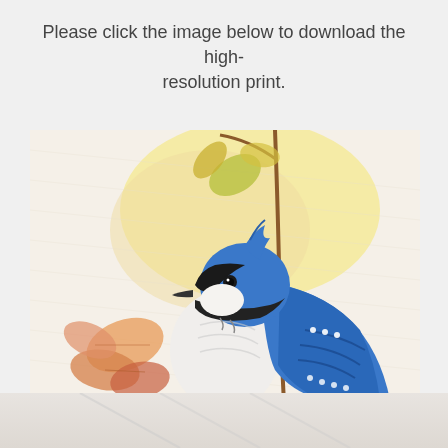Please click the image below to download the high-resolution print.
[Figure (illustration): A colored pencil drawing of a blue jay bird perched near a branch with autumn leaves. The bird features vivid blue plumage on its back and wings with black and white markings on its face and chest. Behind the bird is a warm yellow background with a thin brown branch extending upward and yellowish-green leaves. In the lower left are orange and peach autumn leaves. The artwork is rendered in colored pencil on a light paper texture.]